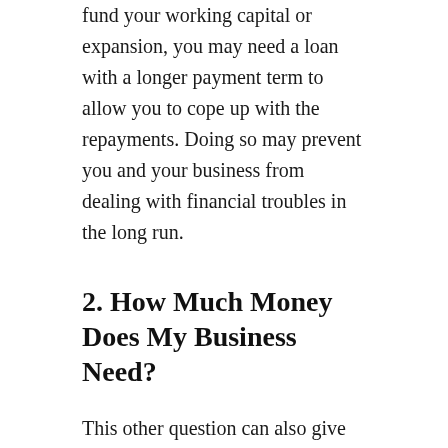fund your working capital or expansion, you may need a loan with a longer payment term to allow you to cope up with the repayments. Doing so may prevent you and your business from dealing with financial troubles in the long run.
2. How Much Money Does My Business Need?
This other question can also give you an idea of which financing is the best for your business. With several lenders and financial institutions operating online, knowing how much funds your business requires can help you determine